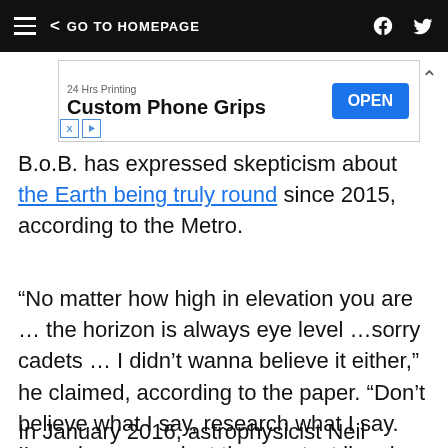< GO TO HOMEPAGE
[Figure (screenshot): Advertisement banner: 24 Hrs Printing - Custom Phone Grips - OPEN button]
B.o.B. has expressed skepticism about the Earth being truly round since 2015, according to the Metro.
“No matter how high in elevation you are … the horizon is always eye level …sorry cadets … I didn’t wanna believe it either,” he claimed, according to the paper. “Don’t believe what I say, research what I say. I’m going up against the greatest liars in history … you’ve been tremendously deceived.”
In January 2016, astrophysicist Neil DeGrasse